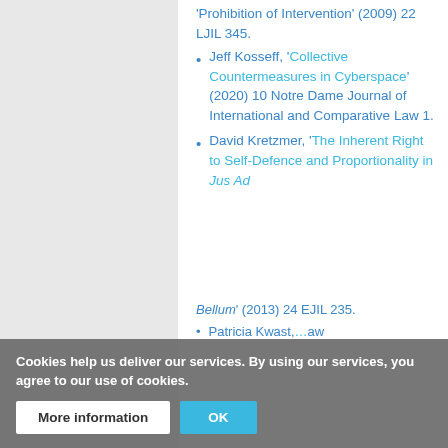'Prohibition of Intervention' (2009) 22 LJIL 345.
Jeff Kosseff, 'Collective Countermeasures in Cyberspace' (2020) 10 Notre Dame Journal of International and Comparative Law 1.
David Kretzmer, 'The Inherent Right to Self-Defence and Proportionality in Jus Ad Bellum' (2013) 24 EJIL 235.
Patricia Kwast, … law
Cookies help us deliver our services. By using our services, you agree to our use of cookies.